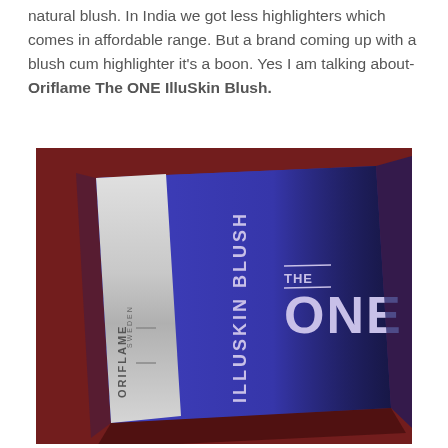natural blush. In India we got less highlighters which comes in affordable range. But a brand coming up with a blush cum highlighter it's a boon. Yes I am talking about- Oriflame The ONE IlluSkin Blush.
[Figure (photo): Photo of the Oriflame The ONE IlluSkin Blush product box. The box is navy blue with silver/white text reading 'ILLUSKIN BLUSH' and 'THE ONE' on the front, and 'ORIFLAME SWEDEN' on a silver strip on the left side. The box is placed on a red fabric background.]